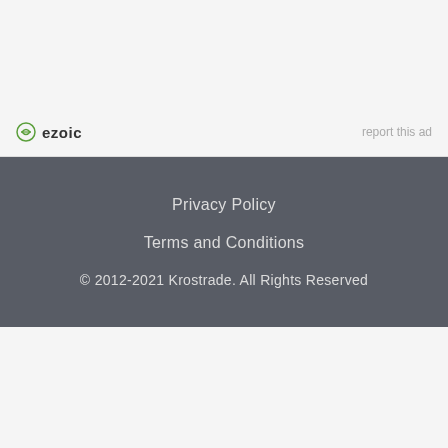[Figure (logo): Ezoic logo with green circular icon and bold text 'ezoic', with 'report this ad' text on the right]
Privacy Policy
Terms and Conditions
© 2012-2021 Krostrade. All Rights Reserved